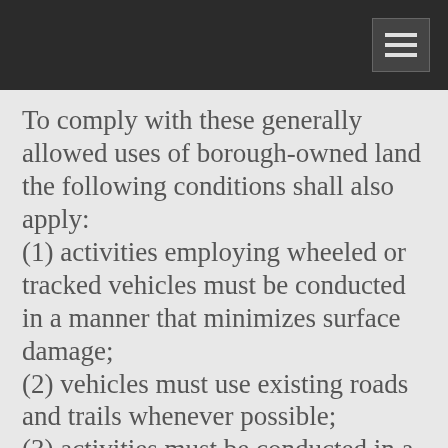To comply with these generally allowed uses of borough-owned land the following conditions shall also apply:
(1) activities employing wheeled or tracked vehicles must be conducted in a manner that minimizes surface damage;
(2) vehicles must use existing roads and trails whenever possible;
(3) activities must be conducted in a manner that minimizes:
a. disturbance of vegetation, soil stability, or drainage systems;
b. changing the character of, polluting, or introducing silt and sediment into streams, lakes, ponds, water holes, seeps, and marshes; and